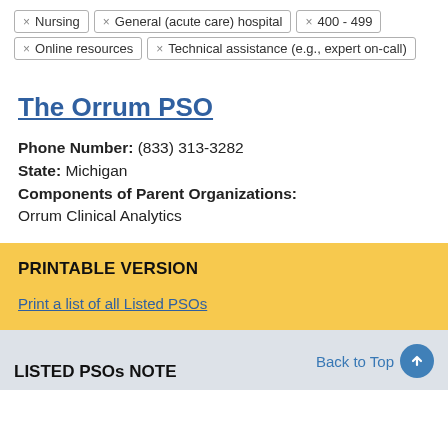× Nursing
× General (acute care) hospital
× 400 - 499
× Online resources
× Technical assistance (e.g., expert on-call)
The Orrum PSO
Phone Number: (833) 313-3282
State: Michigan
Components of Parent Organizations:
Orrum Clinical Analytics
PRINTABLE VERSION
Print a list of all Listed PSOs
LISTED PSOs NOTE